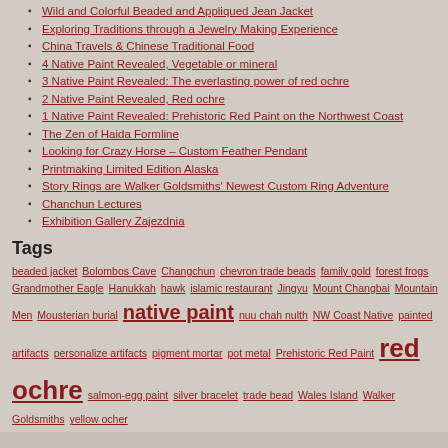Wild and Colorful Beaded and Appliqued Jean Jacket
Exploring Traditions through a Jewelry Making Experience
China Travels & Chinese Traditional Food
4 Native Paint Revealed, Vegetable or mineral
3 Native Paint Revealed: The everlasting power of red ochre
2 Native Paint Revealed, Red ochre
1 Native Paint Revealed: Prehistoric Red Paint on the Northwest Coast
The Zen of Haida Formline
Looking for Crazy Horse – Custom Feather Pendant
Printmaking Limited Edition Alaska
Story Rings are Walker Goldsmiths' Newest Custom Ring Adventure
Chanchun Lectures
Exhibition Gallery Zajezdnia
Tags
beaded jacket Bolombos Cave Changchun chevron trade beads family gold forest frogs Grandmother Eagle Hanukkah hawk islamic restaurant Jingyu Mount Changbai Mountain Men Mousterian burial native paint nuu chah nulth NW Coast Native painted artifacts personalize artifacts pigment mortar pot metal Prehistoric Red Paint red ochre salmon-egg paint silver bracelet trade bead Wales Island Walker Goldsmiths yellow ocher